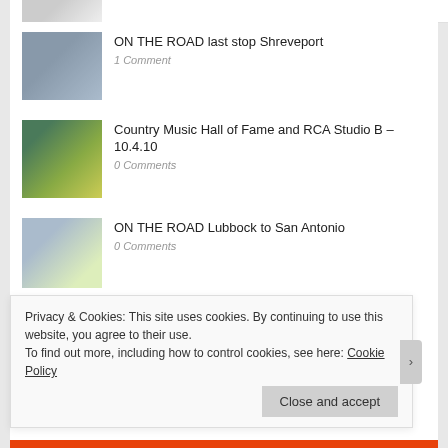[Figure (photo): Partial thumbnail of previous entry at top]
ON THE ROAD last stop Shreveport
1 Comment
Country Music Hall of Fame and RCA Studio B – 10.4.10
0 Comments
ON THE ROAD Lubbock to San Antonio
0 Comments
Dixon Gallery and Gardens 3.18.10
Privacy & Cookies: This site uses cookies. By continuing to use this website, you agree to their use.
To find out more, including how to control cookies, see here: Cookie Policy
Close and accept